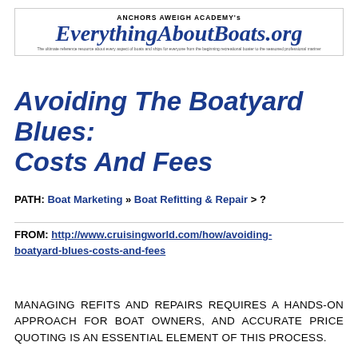ANCHORS AWEIGH ACADEMY's EverythingAboutBoats.org — The ultimate reference resource about every aspect of boats and ships for everyone from the beginning recreational boater to the seasoned professional mariner
Avoiding The Boatyard Blues: Costs And Fees
PATH: Boat Marketing » Boat Refitting & Repair > ?
FROM: http://www.cruisingworld.com/how/avoiding-boatyard-blues-costs-and-fees
MANAGING REFITS AND REPAIRS REQUIRES A HANDS-ON APPROACH FOR BOAT OWNERS, AND ACCURATE PRICE QUOTING IS AN ESSENTIAL ELEMENT OF THIS PROCESS.